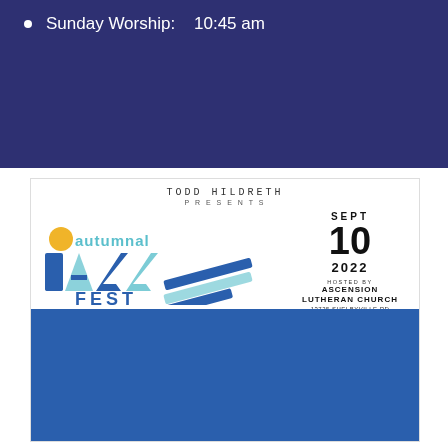Sunday Worship:    10:45 am
[Figure (infographic): Autumnal Jazz Fest promotional flyer. Todd Hildreth Presents. Autumnal Jazz Fest. Sept 10 2022. Hosted by Ascension Lutheran Church, 13725 Shelbyville Rd. Line-up: Isotope 3:00-4:00 PM, Sparks Quartet 4:00-5:00 PM, Potassium Man 5:00-6:00 PM, Old Lou's Ragtime Band (partially visible).]